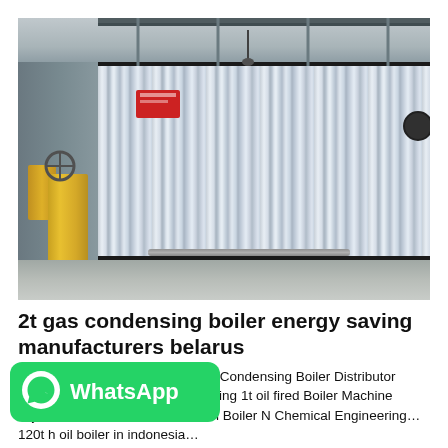[Figure (photo): Industrial boiler with corrugated metal cladding inside a factory building. Large silver corrugated metal panels cover the boiler body. Yellow pipes visible on the left side. Black top and bottom stripes border the corrugated cladding. A metal rod lies on the factory floor in front of the boiler.]
2t gas condensing boiler energy saving manufacturers belarus
r Machine Energy Saving. 1t Gas Condensing Boiler Distributor Energy Saving Latvia Energy Saving 1t oil fired Boiler Machine Tajikistan. 10 Mw Biomass Steam Boiler N Chemical Engineering... 120t h oil boiler in indonesia...